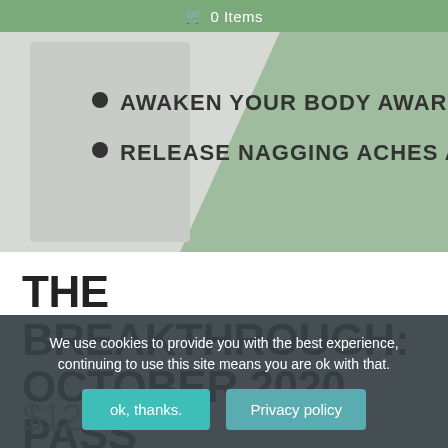0 Items
[Figure (photo): Hero banner image showing yoga-related background with bullet points listing 'AWAKEN YOUR BODY AWARENESS' and 'RELEASE NAGGING ACHES AND PAINS' on a light grey/green tinted background]
AWAKEN YOUR BODY AWARENESS
RELEASE NAGGING ACHES AND PAINS
THE BREAKTHROUGH: OCTOBER 2020 PASS
$128.00
12-class pack of online yoga classes to expand your p... with help yo... flexibility and strength. With u... ll classes, you have a real opportunity to transform the way you move
We use cookies to provide you with the best experience, continuing to use this site means you are ok with that.